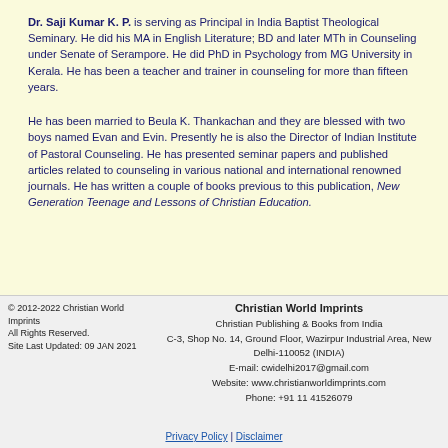Dr. Saji Kumar K. P. is serving as Principal in India Baptist Theological Seminary. He did his MA in English Literature; BD and later MTh in Counseling under Senate of Serampore. He did PhD in Psychology from MG University in Kerala. He has been a teacher and trainer in counseling for more than fifteen years.
He has been married to Beula K. Thankachan and they are blessed with two boys named Evan and Evin. Presently he is also the Director of Indian Institute of Pastoral Counseling. He has presented seminar papers and published articles related to counseling in various national and international renowned journals. He has written a couple of books previous to this publication, New Generation Teenage and Lessons of Christian Education.
© 2012-2022 Christian World Imprints
All Rights Reserved.
Site Last Updated: 09 JAN 2021

Christian World Imprints
Christian Publishing & Books from India
C-3, Shop No. 14, Ground Floor, Wazirpur Industrial Area, New Delhi-110052 (INDIA)
E-mail: cwidelhi2017@gmail.com
Website: www.christianworldimprints.com
Phone: +91 11 41526079

Privacy Policy | Disclaimer